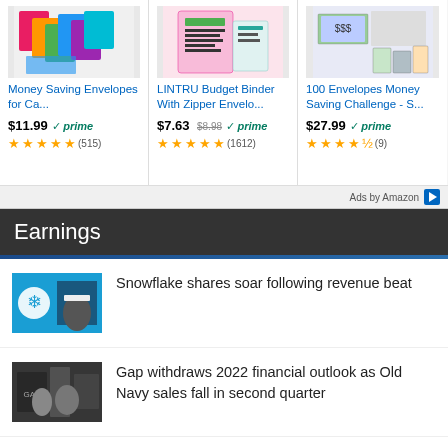[Figure (screenshot): Amazon ad: Money Saving Envelopes for Ca... $11.99 prime, 4.5 stars (515)]
[Figure (screenshot): Amazon ad: LINTRU Budget Binder With Zipper Envelo... $7.63 (was $8.98) prime, 4.5 stars (1612)]
[Figure (screenshot): Amazon ad: 100 Envelopes Money Saving Challenge - S... $27.99 prime, 4 stars (9)]
Ads by Amazon
Earnings
[Figure (photo): Snowflake logo with person in black jacket]
Snowflake shares soar following revenue beat
[Figure (photo): Gap store with people shopping]
Gap withdraws 2022 financial outlook as Old Navy sales fall in second quarter
[Figure (photo): Peloton related image]
Peloton reports big loss, decline in revenue as